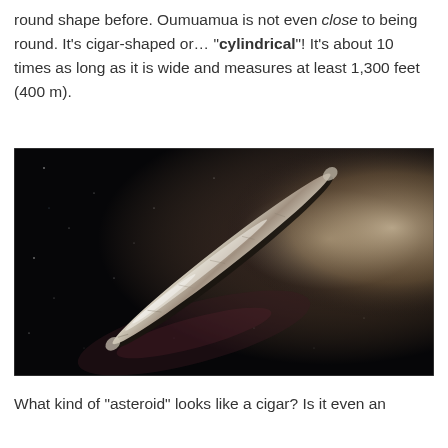round shape before. Oumuamua is not even close to being round. It's cigar-shaped or… "cylindrical"! It's about 10 times as long as it is wide and measures at least 1,300 feet (400 m).
[Figure (photo): Artistic illustration of Oumuamua, a cigar-shaped interstellar object, shown against a dark space background with stars and a glowing light source. The object appears elongated and rocky, diagonal from lower-left to upper-right.]
What kind of "asteroid" looks like a cigar? Is it even an